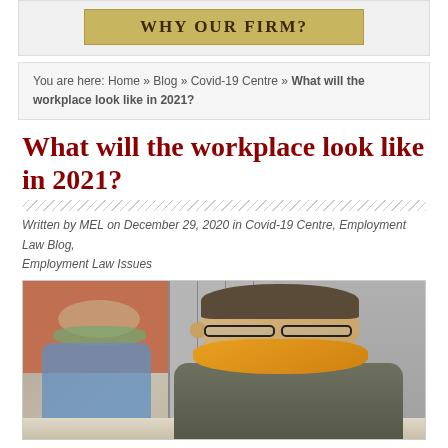[Figure (other): Website banner button with gold/tan background reading WHY OUR FIRM?]
You are here: Home » Blog » Covid-19 Centre » What will the workplace look like in 2021?
What will the workplace look like in 2021?
Written by MEL on December 29, 2020 in Covid-19 Centre, Employment Law Blog, Employment Law Issues
[Figure (photo): Photo of a man wearing an orange/yellow face mask and glasses in an office environment, with another masked person blurred in the background]